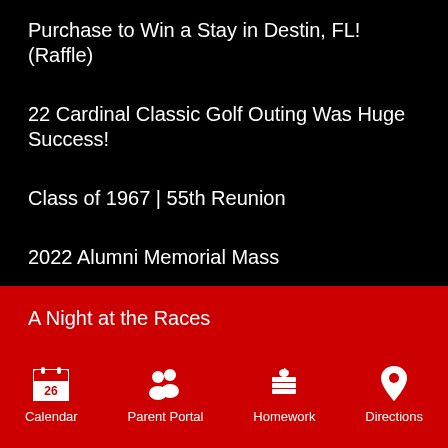Purchase to Win a Stay in Destin, FL! (Raffle)
22 Cardinal Classic Golf Outing Was Huge Success!
Class of 1967 | 55th Reunion
2022 Alumni Memorial Mass
A Night at the Races
Our Family Magazine
Calendar  Parent Portal  Homework  Directions